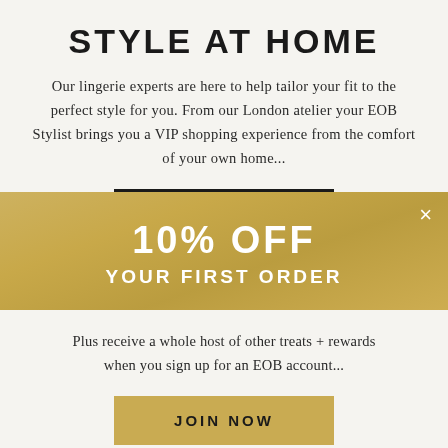STYLE AT HOME
Our lingerie experts are here to help tailor your fit to the perfect style for you. From our London atelier your EOB Stylist brings you a VIP shopping experience from the comfort of your own home...
[Figure (screenshot): Partial view of a black button partially hidden behind a gold discount popup overlay]
10% OFF YOUR FIRST ORDER
Plus receive a whole host of other treats + rewards when you sign up for an EOB account...
JOIN NOW